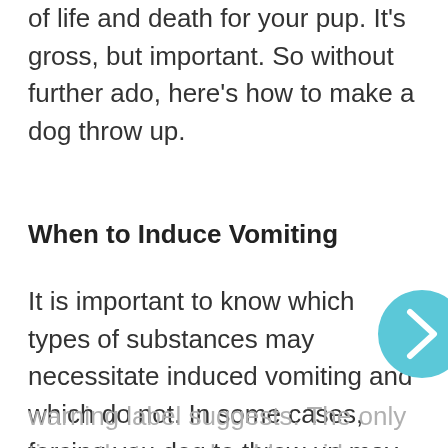of life and death for your pup. It's gross, but important. So without further ado, here's how to make a dog throw up.
When to Induce Vomiting
It is important to know which types of substances may necessitate induced vomiting and which do not. In some cases, forcing your dog to throw up may actually do more harm than good. So, Before you induce vomiting, it would be wise to check the label for the product that your pet ingested to see what the
warning label suggests. The only times that you should avoid inducing vomiting is for...